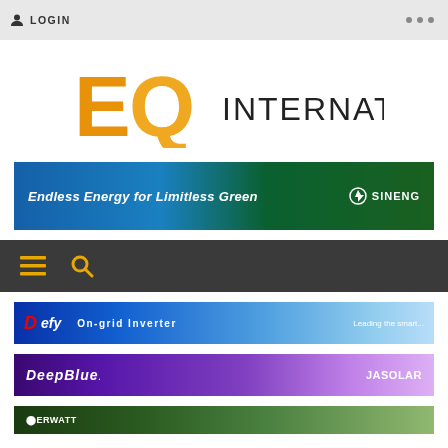LOGIN
[Figure (logo): EQ International logo with orange E and Q letters and black INTERNATIONAL text]
[Figure (infographic): Sineng advertisement banner: Endless Energy for Limitless Green]
[Figure (screenshot): Navigation bar with hamburger menu icon and search icon in orange on dark background]
[Figure (infographic): Advertisement banner with On-grid Inverter product text on blue background]
[Figure (infographic): JA Solar DeepBlue advertisement banner on purple gradient background]
[Figure (infographic): Partial advertisement banner at bottom of page, green background]